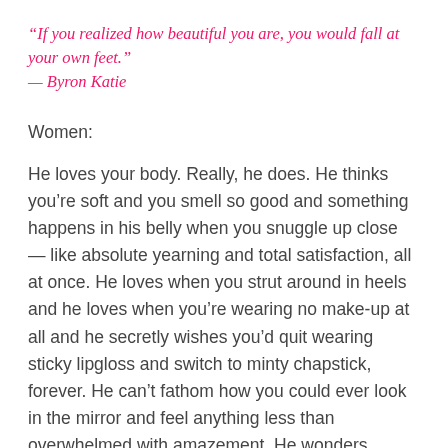“If you realized how beautiful you are, you would fall at your own feet.”
— Byron Katie
Women:
He loves your body. Really, he does. He thinks you’re soft and you smell so good and something happens in his belly when you snuggle up close — like absolute yearning and total satisfaction, all at once. He loves when you strut around in heels and he loves when you’re wearing no make-up at all and he secretly wishes you’d quit wearing sticky lipgloss and switch to minty chapstick, forever. He can’t fathom how you could ever look in the mirror and feel anything less than overwhelmed with amazement. He wonders,